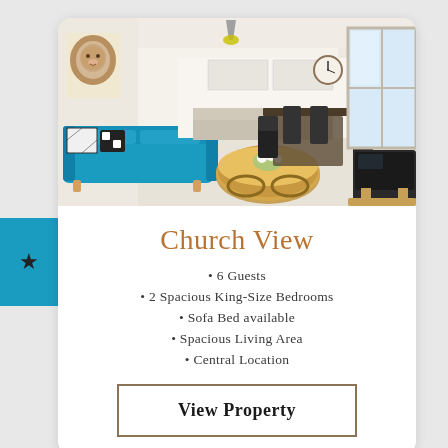[Figure (photo): Interior photo of a modern apartment living area with a teal/turquoise sofa, round wooden coffee table, dining table with black chairs, and open kitchen in background. Bright, airy space with light walls and a large window.]
Church View
6 Guests
2 Spacious King-Size Bedrooms
Sofa Bed available
Spacious Living Area
Central Location
View Property